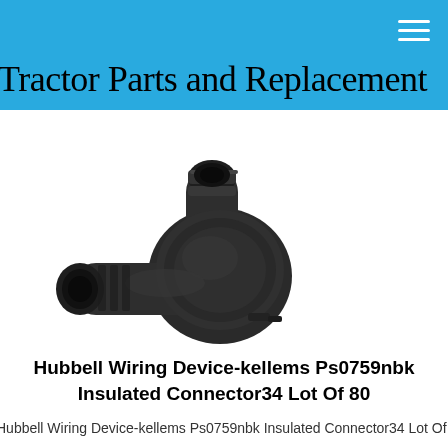Tractor Parts and Replacement
[Figure (photo): Black plastic Hubbell Wiring Device-kellems Ps0759nbk insulated connector, showing a right-angle pipe fitting with threaded ends]
Hubbell Wiring Device-kellems Ps0759nbk Insulated Connector34 Lot Of 80
Hubbell Wiring Device-kellems Ps0759nbk Insulated Connector34 Lot Of 80